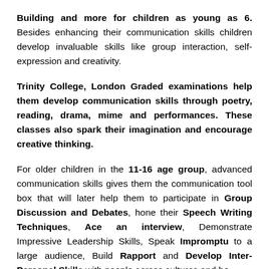Building and more for children as young as 6. Besides enhancing their communication skills children develop invaluable skills like group interaction, self-expression and creativity.
Trinity College, London Graded examinations help them develop communication skills through poetry, reading, drama, mime and performances. These classes also spark their imagination and encourage creative thinking.
For older children in the 11-16 age group, advanced communication skills gives them the communication tool box that will later help them to participate in Group Discussion and Debates, hone their Speech Writing Techniques, Ace an interview, Demonstrate Impressive Leadership Skills, Speak Impromptu to a large audience, Build Rapport and Develop Inter-Personal Skills with people across cultures and be